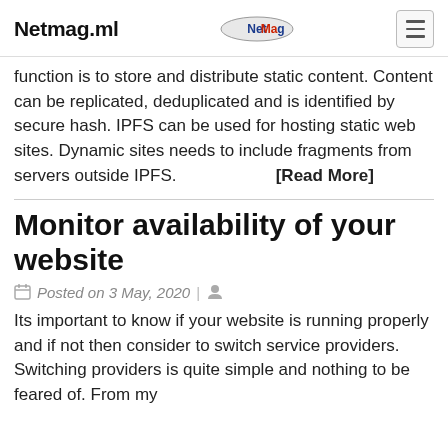Netmag.ml
function is to store and distribute static content. Content can be replicated, deduplicated and is identified by secure hash. IPFS can be used for hosting static web sites. Dynamic sites needs to include fragments from servers outside IPFS. [Read More]
Monitor availability of your website
Posted on 3 May, 2020 |
Its important to know if your website is running properly and if not then consider to switch service providers. Switching providers is quite simple and nothing to be feared of. From my